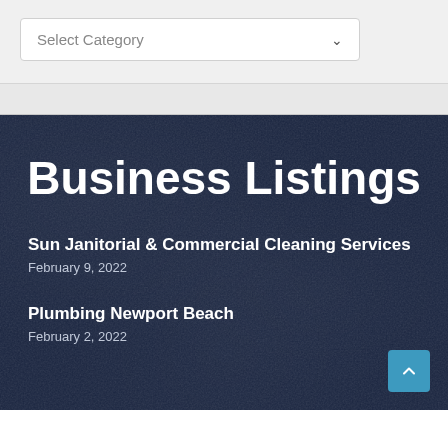[Figure (screenshot): A dropdown selector box with placeholder text 'Select Category' and a chevron icon, on a light gray background]
Business Listings
Sun Janitorial & Commercial Cleaning Services
February 9, 2022
Plumbing Newport Beach
February 2, 2022